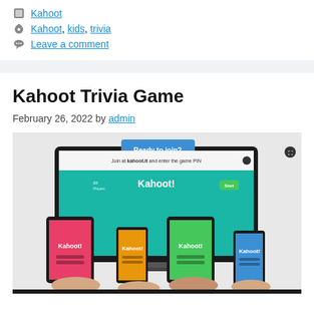Kahoot
Kahoot, kids, trivia
Leave a comment
Kahoot Trivia Game
February 26, 2022 by admin
[Figure (photo): Photo showing multiple devices (tablet, smartphones) displaying the Kahoot! app login screen with 'Ready to join?' banner on a large monitor in the background. Hands are shown holding/tapping the devices.]